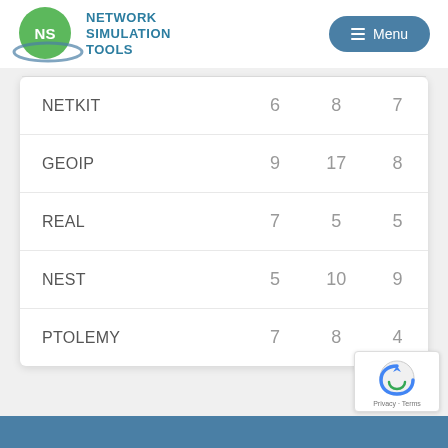[Figure (logo): Network Simulation Tools logo with green circle NS emblem and blue orbit ring, plus Menu button]
| NETKIT | 6 | 8 | 7 |
| GEOIP | 9 | 17 | 8 |
| REAL | 7 | 5 | 5 |
| NEST | 5 | 10 | 9 |
| PTOLEMY | 7 | 8 | 4 |